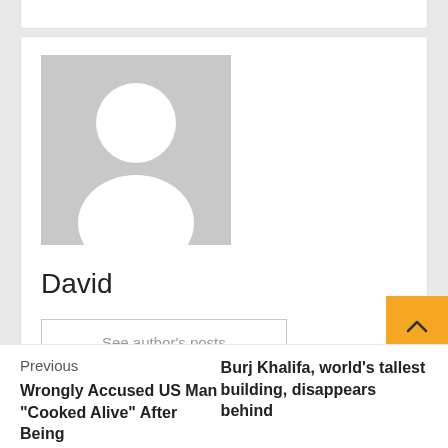[Figure (illustration): Gray placeholder avatar with white silhouette of a person (head and shoulders)]
David
See author's posts
Previous
Wrongly Accused US Man "Cooked Alive" After Being
Burj Khalifa, world's tallest building, disappears behind